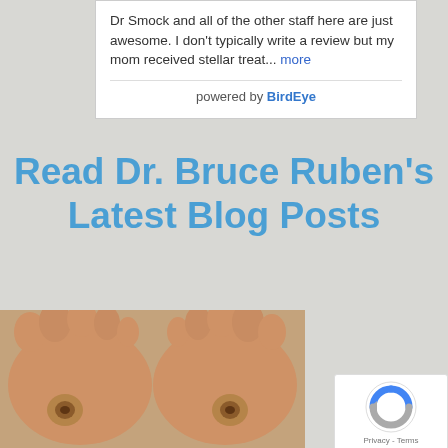Dr Smock and all of the other staff here are just awesome. I don't typically write a review but my mom received stellar treat... more
powered by BirdEye
Read Dr. Bruce Ruben's Latest Blog Posts
[Figure (photo): Photo showing the soles of two feet with circular wound/ulcer lesions on each foot, suggesting diabetic foot ulcers or similar medical condition.]
[Figure (other): reCAPTCHA widget showing the reCAPTCHA logo (circular arrow icon) and Privacy - Terms text.]